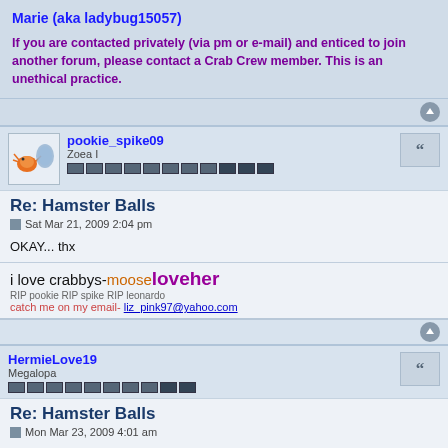Marie (aka ladybug15057)
If you are contacted privately (via pm or e-mail) and enticed to join another forum, please contact a Crab Crew member. This is an unethical practice.
pookie_spike09
Zoea I
Re: Hamster Balls
Sat Mar 21, 2009 2:04 pm
OKAY... thx
i love crabbys-mooseloveher
RIP pookie RIP spike RIP leonardo
catch me on my email- liz_pink97@yahoo.com
HermieLove19
Megalopa
Re: Hamster Balls
Mon Mar 23, 2009 4:01 am
I put a hermie in a hamster ball once and it wasn't what I expected. It